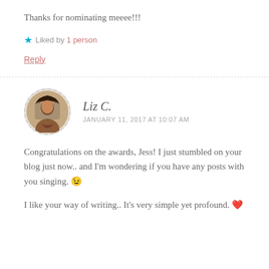Thanks for nominating meeee!!!
★ Liked by 1 person
Reply
Liz C.
JANUARY 11, 2017 AT 10:07 AM
Congratulations on the awards, Jess! I just stumbled on your blog just now.. and I'm wondering if you have any posts with you singing. 😉
I like your way of writing.. It's very simple yet profound. ❤